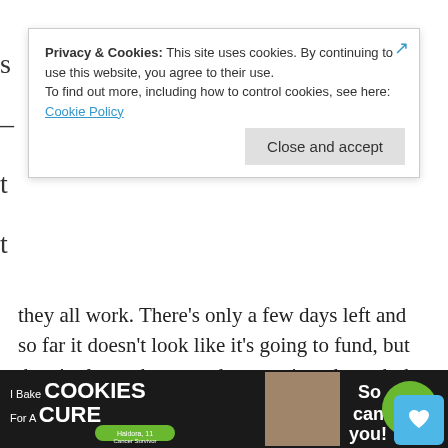Privacy & Cookies: This site uses cookies. By continuing to use this website, you agree to their use. To find out more, including how to control cookies, see here: Cookie Policy
Close and accept
they all work. There's only a few days left and so far it doesn't look like it's going to fund, but there's always hope on the next time through the loop…
[Figure (infographic): Advertisement banner for 'cookies for kids cancer' charity with green background, text 'your HOBBY is their HOPE' and logo with cookie image]
[Figure (infographic): Bottom advertisement banner for 'I Bake Cookies For A Cure' with dark background, featuring Haldora, 11 Cancer Survivor, and cookies for kids cancer logo]